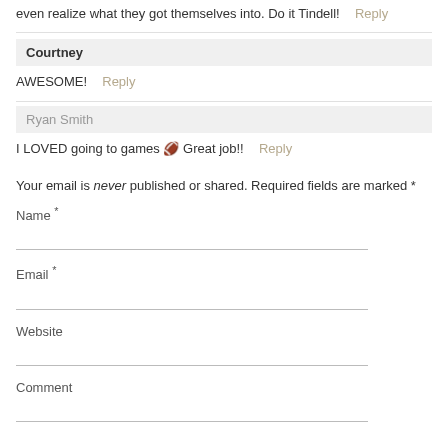even realize what they got themselves into. Do it Tindell!
Reply
Courtney
AWESOME!
Reply
Ryan Smith
I LOVED going to games 🏈 Great job!!
Reply
Your email is never published or shared. Required fields are marked *
Name *
Email *
Website
Comment